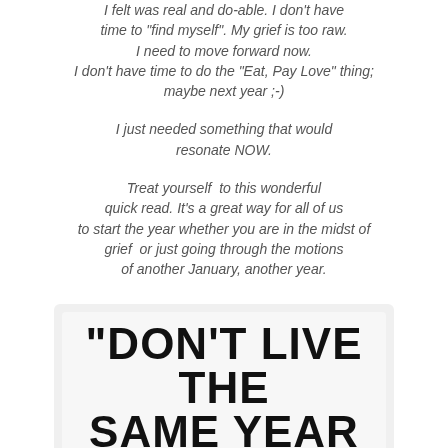I felt was real and do-able. I don't have time to "find myself". My grief is too raw. I need to move forward now. I don't have time to do the "Eat, Pay Love" thing; maybe next year ;-)
I just needed something that would resonate NOW.
Treat yourself  to this wonderful quick read. It's a great way for all of us to start the year whether you are in the midst of grief  or just going through the motions of another January, another year.
[Figure (other): A quote card with light gray background containing inner white/light box with bold uppercase text: "DON'T LIVE THE SAME YEAR 75 TIMES AND CALL"]